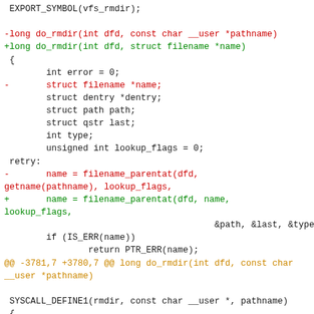[Figure (other): Source code diff showing changes to do_rmdir function in Linux kernel, with removed lines in red, added lines in green, context lines in dark, and diff hunk header in orange/brown.]